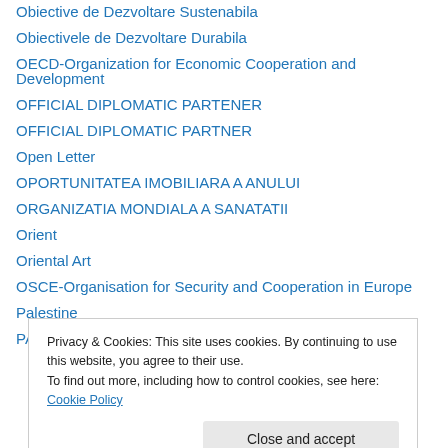Obiective de Dezvoltare Sustenabila
Obiectivele de Dezvoltare Durabila
OECD-Organization for Economic Cooperation and Development
OFFICIAL DIPLOMATIC PARTENER
OFFICIAL DIPLOMATIC PARTNER
Open Letter
OPORTUNITATEA IMOBILIARA A ANULUI
ORGANIZATIA MONDIALA A SANATATII
Orient
Oriental Art
OSCE-Organisation for Security and Cooperation in Europe
Palestine
PANCIU DOMAINS
Privacy & Cookies: This site uses cookies. By continuing to use this website, you agree to their use.
To find out more, including how to control cookies, see here: Cookie Policy
Close and accept